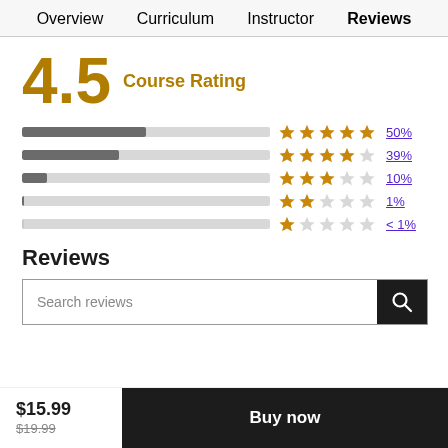Overview   Curriculum   Instructor   Reviews
4.5 Course Rating
[Figure (bar-chart): Rating distribution]
Reviews
Search reviews